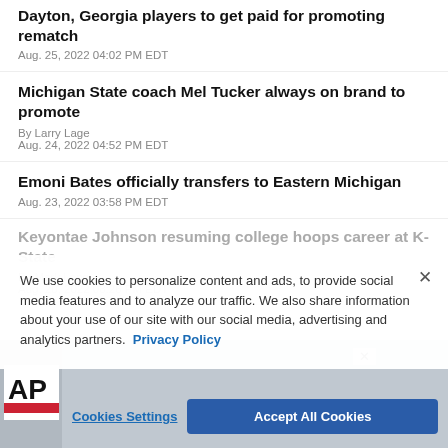Dayton, Georgia players to get paid for promoting rematch
Aug. 25, 2022 04:02 PM EDT
Michigan State coach Mel Tucker always on brand to promote
By Larry Lage
Aug. 24, 2022 04:52 PM EDT
Emoni Bates officially transfers to Eastern Michigan
Aug. 23, 2022 03:58 PM EDT
Keyontae Johnson resuming college hoops career at K-State
By Mark Long
Aug. 20, 2022 08:26 PM EDT
We use cookies to personalize content and ads, to provide social media features and to analyze our traffic. We also share information about your use of our site with our social media, advertising and analytics partners. Privacy Policy
[Figure (logo): AP news logo on advertisement banner at bottom of page]